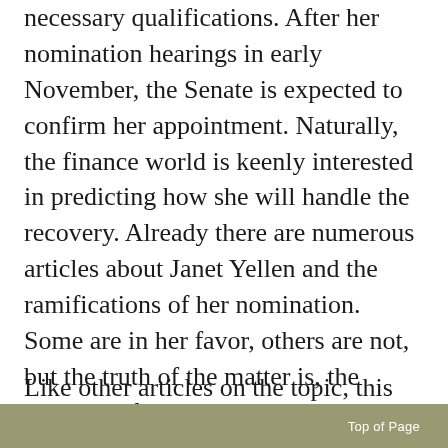necessary qualifications. After her nomination hearings in early November, the Senate is expected to confirm her appointment. Naturally, the finance world is keenly interested in predicting how she will handle the recovery. Already there are numerous articles about Janet Yellen and the ramifications of her nomination. Some are in her favor, others are not, but the truth of the matter is, the musings of newspaper columnists and experts at university think tanks cannot reverse the Senate’s decision. Yet, they can serve as a forecaster of things to come.
Like other articles on the topic, this paper seeks an
Top of Page